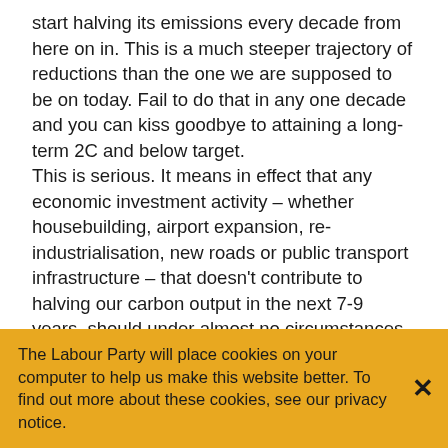start halving its emissions every decade from here on in. This is a much steeper trajectory of reductions than the one we are supposed to be on today. Fail to do that in any one decade and you can kiss goodbye to attaining a long-term 2C and below target.
This is serious. It means in effect that any economic investment activity – whether housebuilding, airport expansion, re-industrialisation, new roads or public transport infrastructure – that doesn't contribute to halving our carbon output in the next 7-9 years, should under almost no circumstances be embarked upon. Longer-term decarbonisation targets beyond this time frame are all but irrelevant can-kicking exercises for politicians today. We're now officially out of road, and it is short-term decarbonisation goals the next Labour government must focus on if the science is to be acted upon in time.
As sobering as this all is, this is where the language of
The Labour Party will place cookies on your computer to help us make this website better. To find out more about these cookies, see our privacy notice.